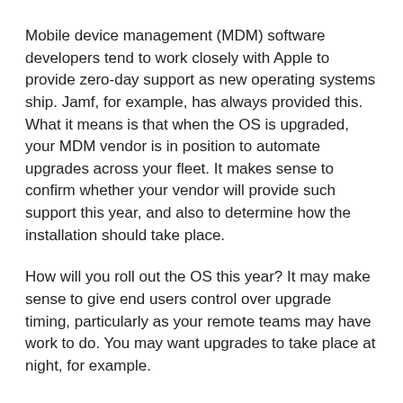Mobile device management (MDM) software developers tend to work closely with Apple to provide zero-day support as new operating systems ship. Jamf, for example, has always provided this. What it means is that when the OS is upgraded, your MDM vendor is in position to automate upgrades across your fleet. It makes sense to confirm whether your vendor will provide such support this year, and also to determine how the installation should take place.
How will you roll out the OS this year? It may make sense to give end users control over upgrade timing, particularly as your remote teams may have work to do. You may want upgrades to take place at night, for example.
Speak to your employees